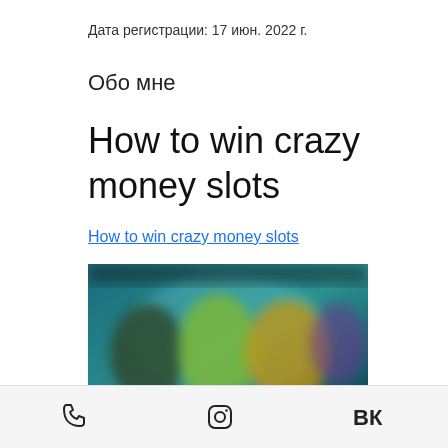Дата регистрации: 17 июн. 2022 г.
Обо мне
How to win crazy money slots
How to win crazy money slots
[Figure (screenshot): Blurred screenshot of a casino/slots game interface with colorful animated characters on a teal/dark background]
Phone icon | Instagram icon | VK icon